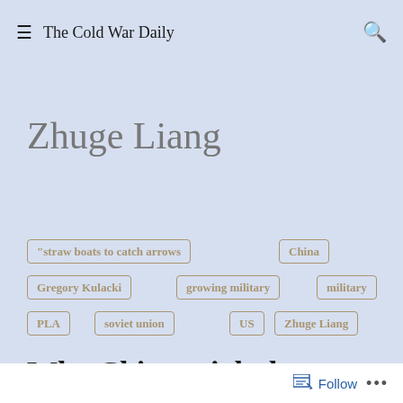The Cold War Daily
Zhuge Liang
"straw boats to catch arrows
China
Gregory Kulacki
growing military
military
PLA
soviet union
US
Zhuge Liang
Why China might be
Follow